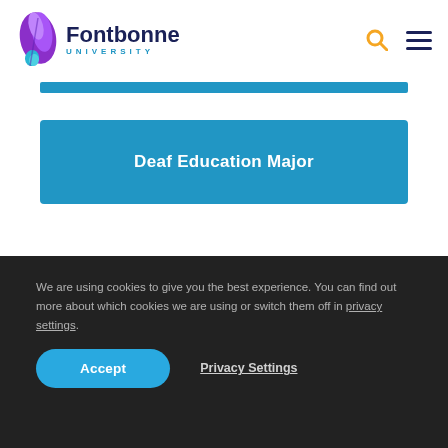[Figure (logo): Fontbonne University logo with purple/blue feather icon and text 'Fontbonne UNIVERSITY']
[Figure (other): Search icon (magnifying glass, orange) and hamburger menu icon (dark blue)]
Deaf Education Major
We are using cookies to give you the best experience. You can find out more about which cookies we are using or switch them off in privacy settings.
Accept
Privacy Settings